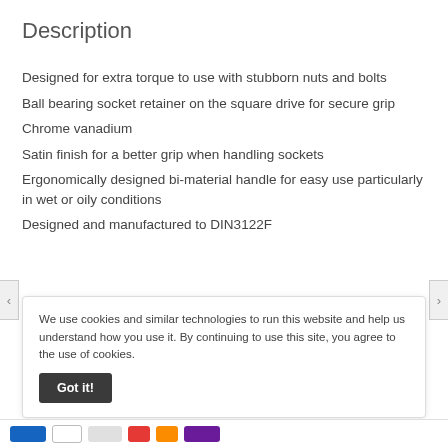Description
Designed for extra torque to use with stubborn nuts and bolts
Ball bearing socket retainer on the square drive for secure grip
Chrome vanadium
Satin finish for a better grip when handling sockets
Ergonomically designed bi-material handle for easy use particularly in wet or oily conditions
Designed and manufactured to DIN3122F
We use cookies and similar technologies to run this website and help us understand how you use it. By continuing to use this site, you agree to the use of cookies.
Got it!